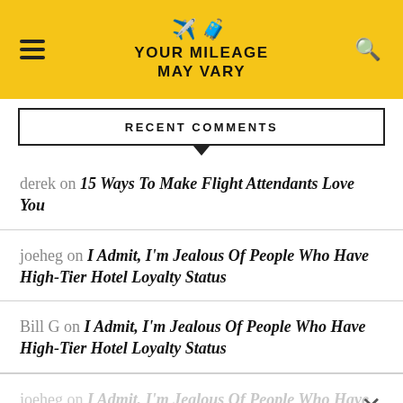YOUR MILEAGE MAY VARY
RECENT COMMENTS
derek on 15 Ways To Make Flight Attendants Love You
joeheg on I Admit, I'm Jealous Of People Who Have High-Tier Hotel Loyalty Status
Bill G on I Admit, I'm Jealous Of People Who Have High-Tier Hotel Loyalty Status
joeheg on I Admit, I'm Jealous Of People Who Have High-Tier Hotel Loyalty Status